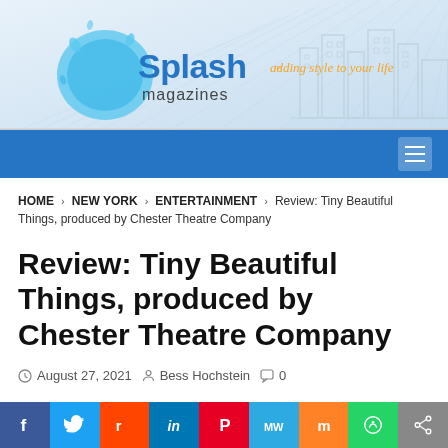[Figure (logo): Splash Magazines logo with tagline 'adding style to your life' and city skyline illustration on light blue background]
Navigation bar with hamburger menu icon
HOME > NEW YORK > ENTERTAINMENT > Review: Tiny Beautiful Things, produced by Chester Theatre Company
Review: Tiny Beautiful Things, produced by Chester Theatre Company
August 27, 2021  Bess Hochstein  0
[Figure (infographic): Social media sharing buttons: Facebook, Twitter, Reddit, LinkedIn, Pinterest, MeWe, Mix, WhatsApp, Share]